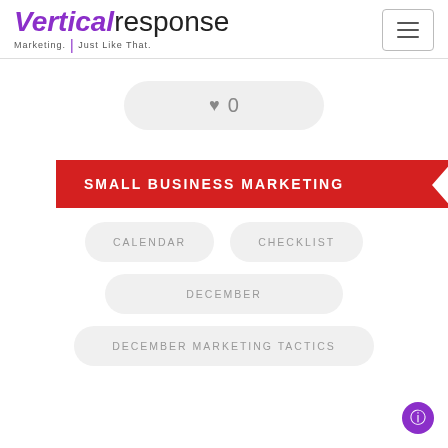[Figure (logo): VerticalResponse logo with tagline 'Marketing. Just Like That.' and hamburger menu icon]
♥ 0
SMALL BUSINESS MARKETING
CALENDAR
CHECKLIST
DECEMBER
DECEMBER MARKETING TACTICS